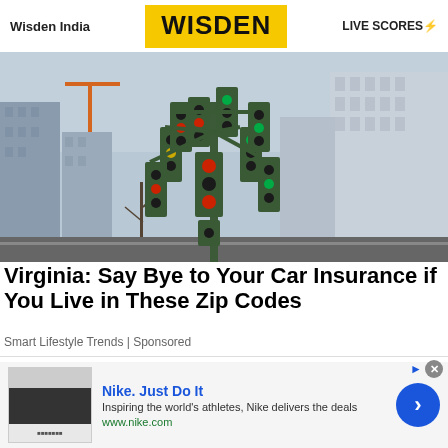Wisden India | WISDEN | LIVE SCORES
[Figure (photo): A large pole with many traffic lights attached pointing in various directions, set against an urban skyline with buildings and cranes in the background.]
Virginia: Say Bye to Your Car Insurance if You Live in These Zip Codes
Smart Lifestyle Trends | Sponsored
[Figure (infographic): Advertisement for Nike. Just Do It - Inspiring the world's athletes, Nike delivers the deals. www.nike.com]